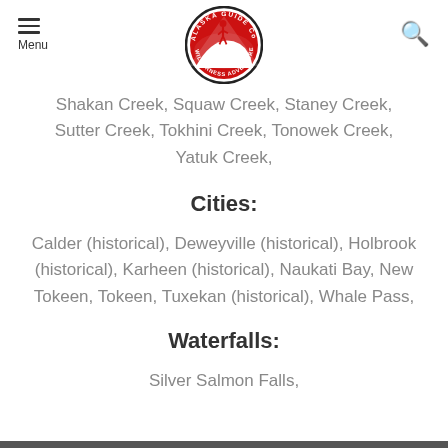Menu | Alaska Guide Co. Wilderness Adventures logo | Search
Shakan Creek, Squaw Creek, Staney Creek, Sutter Creek, Tokhini Creek, Tonowek Creek, Yatuk Creek,
Cities:
Calder (historical), Deweyville (historical), Holbrook (historical), Karheen (historical), Naukati Bay, New Tokeen, Tokeen, Tuxekan (historical), Whale Pass,
Waterfalls:
Silver Salmon Falls,